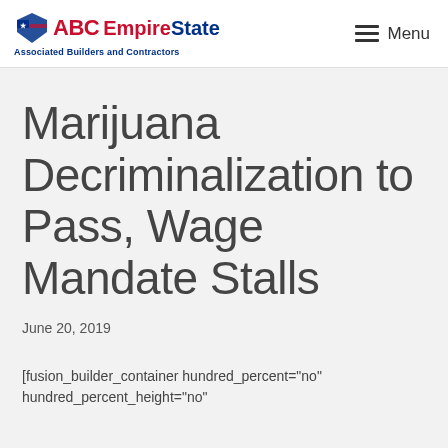ABC Empire State Associated Builders and Contractors | Menu
Marijuana Decriminalization to Pass, Wage Mandate Stalls
June 20, 2019
[fusion_builder_container hundred_percent="no" hundred_percent_height="no"